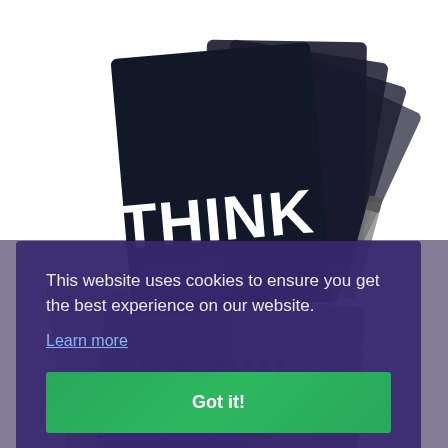[Figure (photo): A fan of dark navy/black cards with 'THINK' printed in large white bold letters on the front card, and a pen visible at the right edge. Background of webpage visible behind cookie consent banner.]
This website uses cookies to ensure you get the best experience on our website.
Learn more
Got it!